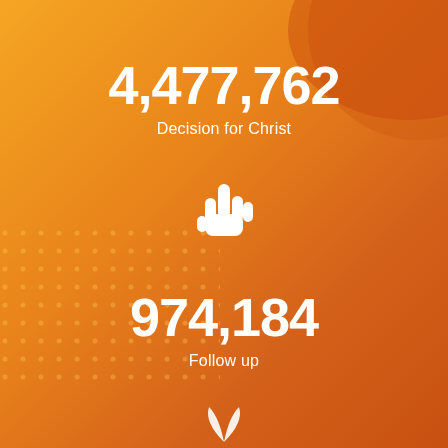4,477,762
Decision for Christ
[Figure (illustration): White pointer/hand cursor icon on orange background]
974,184
Follow up
[Figure (illustration): White leaf or feather icon partially visible at bottom of page]